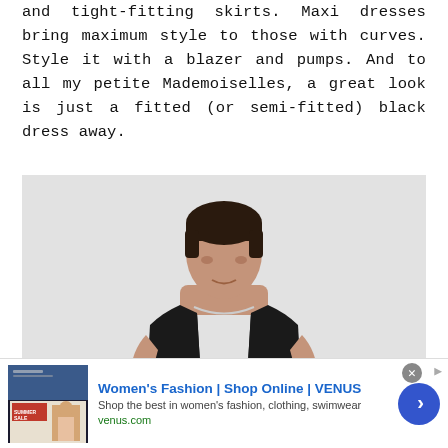and tight-fitting skirts. Maxi dresses bring maximum style to those with curves. Style it with a blazer and pumps. And to all my petite Mademoiselles, a great look is just a fitted (or semi-fitted) black dress away.
[Figure (photo): A model with short dark hair wearing a sleeveless black fitted dress, photographed against a light gray background, upper body visible.]
[Figure (other): Advertisement banner for Women's Fashion at VENUS. Shows a thumbnail of a summer sale promotional image on the left, bold blue title 'Women's Fashion | Shop Online | VENUS', description text 'Shop the best in women's fashion, clothing, swimwear', green URL 'venus.com', and a blue circular arrow button on the right. Has a close (X) button and an info arrow icon.]